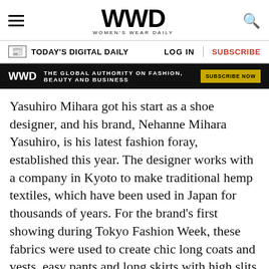WWD — WOMEN'S WEAR DAILY
TODAY'S DIGITAL DAILY | LOG IN | SUBSCRIBE
[Figure (other): WWD black banner: THE GLOBAL AUTHORITY ON FASHION, BEAUTY AND BUSINESS — SUBSCRIBE NOW]
Yasuhiro Mihara got his start as a shoe designer, and his brand, Nehanne Mihara Yasuhiro, is his latest fashion foray, established this year. The designer works with a company in Kyoto to make traditional hemp textiles, which have been used in Japan for thousands of years. For the brand's first showing during Tokyo Fashion Week, these fabrics were used to create chic long coats and vests, easy pants and long skirts with high slits showing off a long expanse of leg.
Staged in an underground parking lot, the